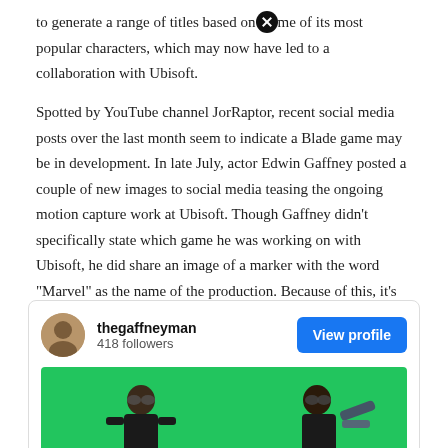to generate a range of titles based on [icon] me of its most popular characters, which may now have led to a collaboration with Ubisoft.
Spotted by YouTube channel JorRaptor, recent social media posts over the last month seem to indicate a Blade game may be in development. In late July, actor Edwin Gaffney posted a couple of new images to social media teasing the ongoing motion capture work at Ubisoft. Though Gaffney didn't specifically state which game he was working on with Ubisoft, he did share an image of a marker with the word "Marvel" as the name of the production. Because of this, it's believed that Marvel could do something with the France-based publisher.
[Figure (screenshot): Instagram-style social media profile card for 'thegaffneyman' with 418 followers and a View profile button, showing a green screen photo with two people in motion capture gear]